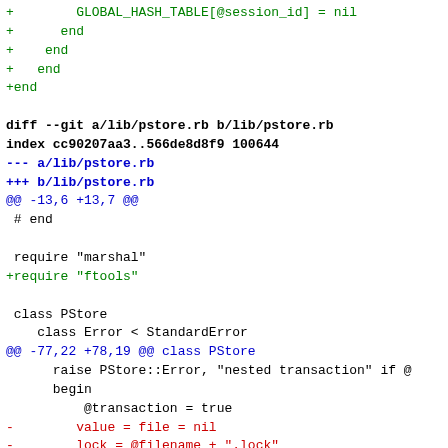Git diff code snippet showing changes to lib/pstore.rb including added require ftools, removed locking code with File::symlink and loop/rescue blocks